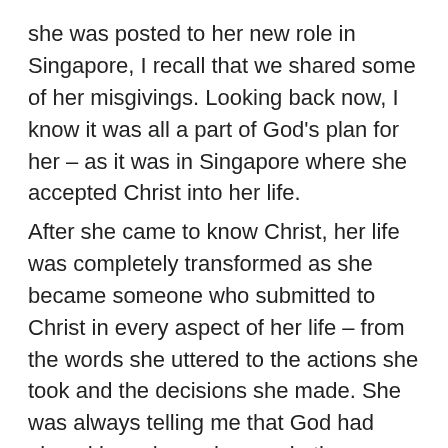she was posted to her new role in Singapore, I recall that we shared some of her misgivings. Looking back now, I know it was all a part of God's plan for her – as it was in Singapore where she accepted Christ into her life. After she came to know Christ, her life was completely transformed as she became someone who submitted to Christ in every aspect of her life – from the words she uttered to the actions she took and the decisions she made. She was always telling me that God had placed her where she was in the company to do His will, and to fulfil His great commission. Her sole objective was to establish His kingdom on earth and become more like